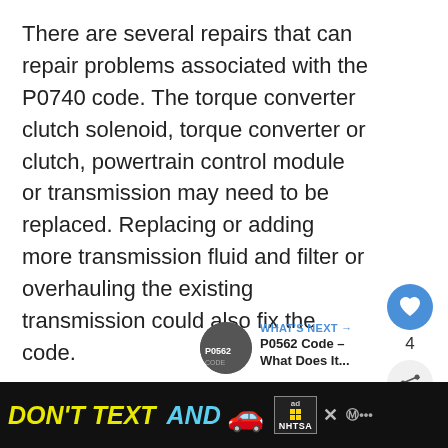There are several repairs that can repair problems associated with the P0740 code. The torque converter clutch solenoid, torque converter or clutch, powertrain control module or transmission may need to be replaced. Replacing or adding more transmission fluid and filter or overhauling the existing transmission could also fix the code.
[Figure (infographic): Like/heart button (blue circle with heart icon), like count showing 4, and share button (grey circle with share icon)]
[Figure (infographic): What's Next panel with thumbnail image and text: WHAT'S NEXT → P0562 Code – What Does It...]
RELATED CODES
[Figure (infographic): Ad banner with black background: DON'T TEXT AND [car emoji] with NHTSA logo and ad badge. Close button and partial right logo visible.]